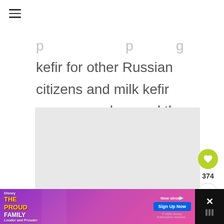≡
kefir for other Russian citizens and milk kefir soon spread around the world.
[Figure (other): Large image placeholder area with light gray background]
374
[Figure (other): Advertisement banner: The Proud Family Disney+ streaming ad with 'Now streaming, Sign Up Now' and close button]